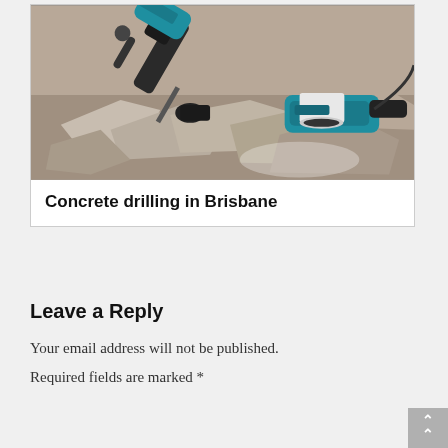[Figure (photo): Makita power tools including a rotary hammer drill and angle grinder on a pile of broken concrete rubble and stone debris.]
Concrete drilling in Brisbane
Leave a Reply
Your email address will not be published.
Required fields are marked *